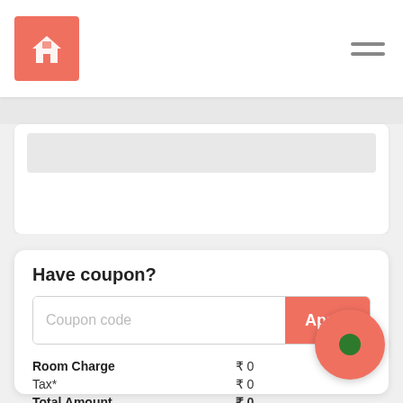[Figure (screenshot): Navigation bar with salmon/coral logo box containing a house icon on the left and hamburger menu icon on the right]
[Figure (screenshot): Partially visible white card with gray input field at top of page]
Have coupon?
Coupon code [input field] Apply [button]
Room Charge  ₹ 0
Tax*  ₹ 0
Total Amount  ₹ 0
+ Web Reservation
Or 3 interest free payments of ₹ 0 with
Instant Booking
[Figure (other): Salmon/coral circle with green dot in center, recording indicator overlay]